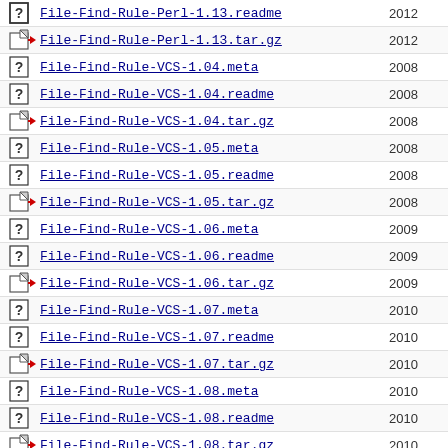File-Find-Rule-Perl-1.13.readme 2012
File-Find-Rule-Perl-1.13.tar.gz 2012
File-Find-Rule-VCS-1.04.meta 2008
File-Find-Rule-VCS-1.04.readme 2008
File-Find-Rule-VCS-1.04.tar.gz 2008
File-Find-Rule-VCS-1.05.meta 2008
File-Find-Rule-VCS-1.05.readme 2008
File-Find-Rule-VCS-1.05.tar.gz 2008
File-Find-Rule-VCS-1.06.meta 2009
File-Find-Rule-VCS-1.06.readme 2009
File-Find-Rule-VCS-1.06.tar.gz 2009
File-Find-Rule-VCS-1.07.meta 2010
File-Find-Rule-VCS-1.07.readme 2010
File-Find-Rule-VCS-1.07.tar.gz 2010
File-Find-Rule-VCS-1.08.meta 2010
File-Find-Rule-VCS-1.08.readme 2010
File-Find-Rule-VCS-1.08.tar.gz 2010